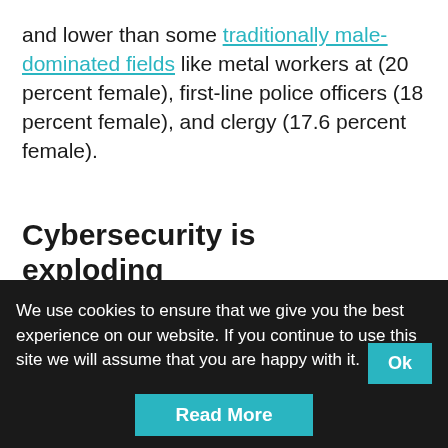and lower than some traditionally male-dominated fields like metal workers at (20 percent female), first-line police officers (18 percent female), and clergy (17.6 percent female).
Cybersecurity is exploding
Cybersecurity is booming, and the industry is facing a massive talent shortage. By 2020 the
We use cookies to ensure that we give you the best experience on our website. If you continue to use this site we will assume that you are happy with it. Ok Read More